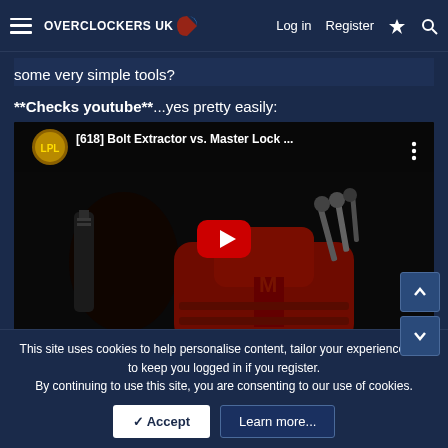Overclockers UK — Log in | Register
some very simple tools?
**Checks youtube**...yes pretty easily:
[Figure (screenshot): YouTube video embed showing '[618] Bolt Extractor vs. Master Lock ...' with a dark thumbnail showing a red lock device and tools, and a red play button in the center]
Last edited: 25 Feb 2020
This site uses cookies to help personalise content, tailor your experience and to keep you logged in if you register.
By continuing to use this site, you are consenting to our use of cookies.